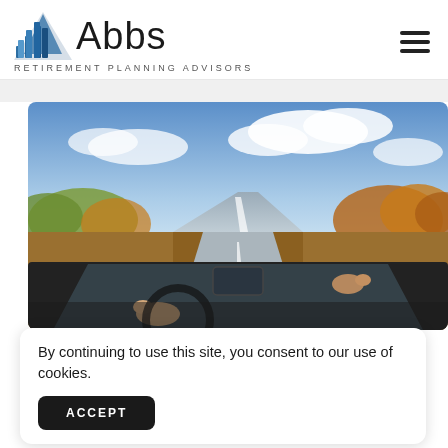[Figure (logo): Abbs Retirement Planning Advisors logo with a blue stylized mountain/bar-chart icon and the text 'Abbs' in large font, with 'RETIREMENT PLANNING ADVISORS' below in spaced caps]
[Figure (photo): A person driving a convertible car on an open road through an autumn countryside landscape with colorful trees and cloudy sky]
By continuing to use this site, you consent to our use of cookies.
ACCEPT